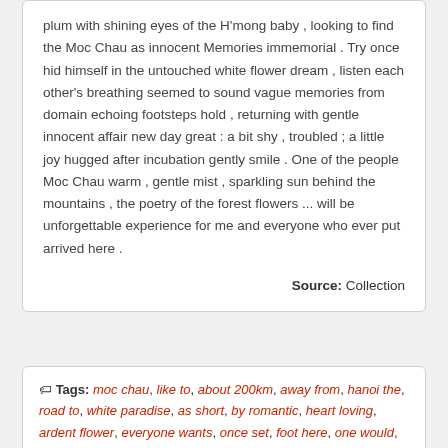plum with shining eyes of the H'mong baby , looking to find the Moc Chau as innocent Memories immemorial . Try once hid himself in the untouched white flower dream , listen each other's breathing seemed to sound vague memories from domain echoing footsteps hold , returning with gentle innocent affair new day great : a bit shy , troubled ; a little joy hugged after incubation gently smile . One of the people Moc Chau warm , gentle mist , sparkling sun behind the mountains , the poetry of the forest flowers ... will be unforgettable experience for me and everyone who ever put arrived here .
Source: Collection
Tags: moc chau, like to, about 200km, away from, hanoi the, road to, white paradise, as short, by romantic, heart loving, ardent flower, everyone wants, once set, foot here, one would, live in, paradise backdrop, of pristine, white plum, blossom apricot, blossom you,